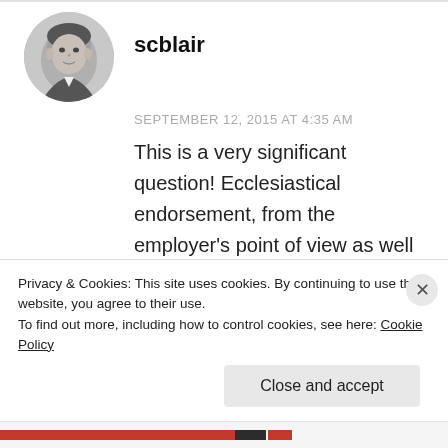[Figure (photo): Circular avatar photo of a man (scblair), black and white]
scblair
SEPTEMBER 12, 2015 AT 4:35 AM
This is a very significant question! Ecclesiastical endorsement, from the employer's point of view as well as the church body's point of view, shows that you are under the care and authority of at least some other body. I don't think that I would hire any clergy who didn't see the
Privacy & Cookies: This site uses cookies. By continuing to use this website, you agree to their use.
To find out more, including how to control cookies, see here: Cookie Policy
Close and accept